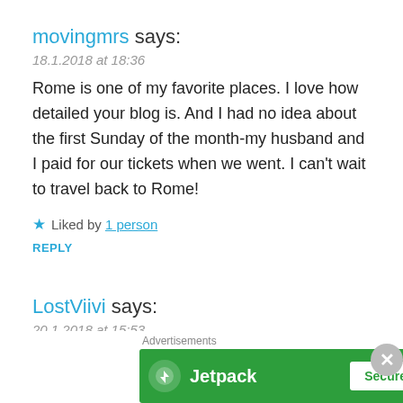movingmrs says:
18.1.2018 at 18:36
Rome is one of my favorite places. I love how detailed your blog is. And I had no idea about the first Sunday of the month-my husband and I paid for our tickets when we went. I can't wait to travel back to Rome!
★ Liked by 1 person
REPLY
LostViivi says:
20.1.2018 at 15:53
Many cities have those free visitor days in museums but they just don't mention it a lot. I hope we can both visit Rome agai…
[Figure (infographic): Jetpack advertisement banner with green background showing Jetpack logo and 'Secure Your Site' button. Label 'Advertisements' above the banner.]